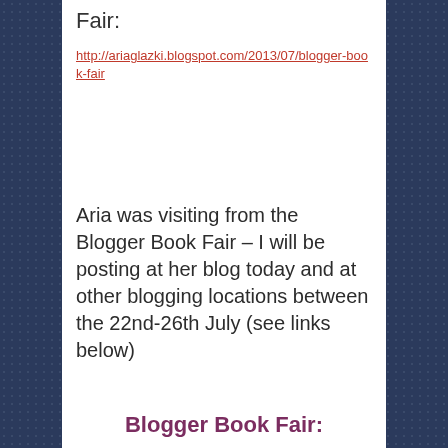Fair:
http://ariaglazki.blogspot.com/2013/07/blogger-book-fair
Aria was visiting from the Blogger Book Fair – I will be posting at her blog today and at other blogging locations between the 22nd-26th July (see links below)
Blogger Book Fair:
[Figure (other): Check in to Blogger banner image, partial view]